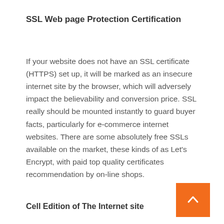SSL Web page Protection Certification
If your website does not have an SSL certificate (HTTPS) set up, it will be marked as an insecure internet site by the browser, which will adversely impact the believability and conversion price. SSL really should be mounted instantly to guard buyer facts, particularly for e-commerce internet websites. There are some absolutely free SSLs available on the market, these kinds of as Let's Encrypt, with paid top quality certificates recommendation by on-line shops.
Cell Edition of The Internet site